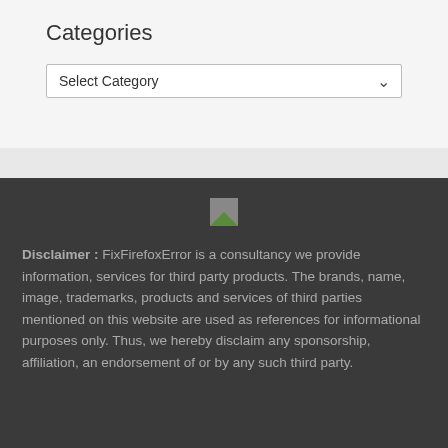Categories
Select Category
[Figure (logo): Small logo image placeholder]
Disclaimer : FixFirefoxError is a consultancy we provide information, services for third party products. The brands, name, image, trademarks, products and services of third parties mentioned on this website are used as references for informational purposes only. Thus, we hereby disclaim any sponsorship, affiliation, an endorsement of or by any such third party.